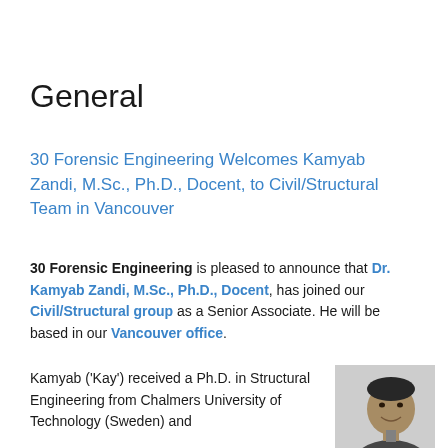General
30 Forensic Engineering Welcomes Kamyab Zandi, M.Sc., Ph.D., Docent, to Civil/Structural Team in Vancouver
30 Forensic Engineering is pleased to announce that Dr. Kamyab Zandi, M.Sc., Ph.D., Docent, has joined our Civil/Structural group as a Senior Associate. He will be based in our Vancouver office.
Kamyab ('Kay') received a Ph.D. in Structural Engineering from Chalmers University of Technology (Sweden) and
[Figure (photo): Black and white professional headshot photo of Kamyab Zandi, a man in a suit, smiling]